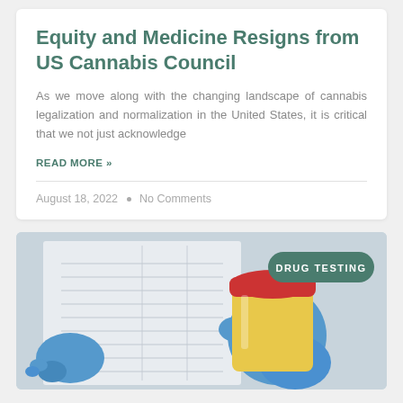Equity and Medicine Resigns from US Cannabis Council
As we move along with the changing landscape of cannabis legalization and normalization in the United States, it is critical that we not just acknowledge
READ MORE »
August 18, 2022 • No Comments
[Figure (photo): A person wearing blue latex gloves holds a urine sample cup with a red lid over a medical/lab document. A green badge reading 'DRUG TESTING' appears in the upper right corner of the image.]